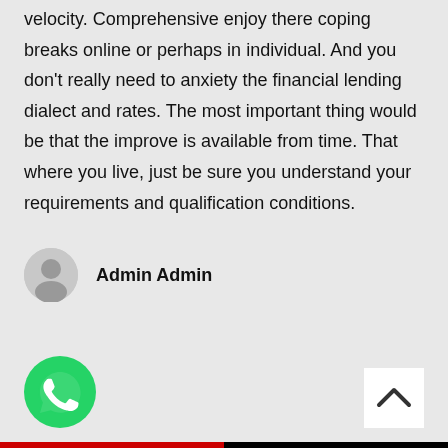velocity. Comprehensive enjoy there coping breaks online or perhaps in individual. And you don't really need to anxiety the financial lending dialect and rates. The most important thing would be that the improve is available from time. That where you live, just be sure you understand your requirements and qualification conditions.
Admin Admin
[Figure (other): Green WhatsApp button icon at bottom left]
[Figure (other): White back-to-top button with upward chevron arrow at bottom right]